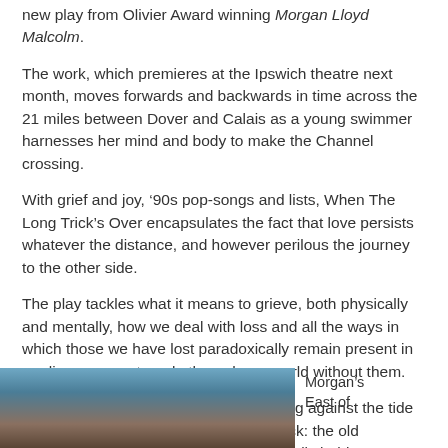new play from Olivier Award winning Morgan Lloyd Malcolm.
The work, which premieres at the Ipswich theatre next month, moves forwards and backwards in time across the 21 miles between Dover and Calais as a young swimmer harnesses her mind and body to make the Channel crossing.
With grief and joy, ‘90s pop-songs and lists, When The Long Trick’s Over encapsulates the fact that love persists whatever the distance, and however perilous the journey to the other side.
The play tackles what it means to grieve, both physically and mentally, how we deal with loss and all the ways in which those we have lost paradoxically remain present in our lives as we struggle through our world without them.
And that, sometimes, it means swimming against the tide and against the things that hold you back: the old memories and oil tankers, jellyfish and jelly babies.
[Figure (photo): Portrait photo of Morgan, partially visible at bottom of page]
Morgan’s East of